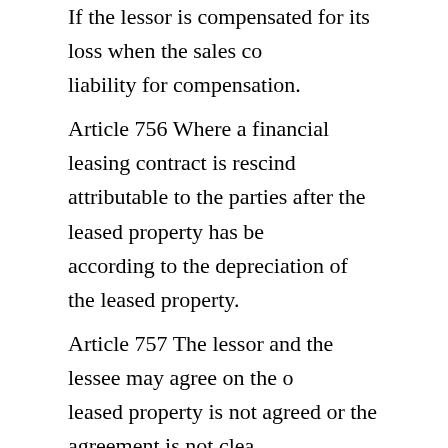If the lessor is compensated for its loss when the sales co liability for compensation.
Article 756 Where a financial leasing contract is rescind attributable to the parties after the leased property has be according to the depreciation of the leased property.
Article 757 The lessor and the lessee may agree on the o leased property is not agreed or the agreement is not clea of the leased property shall belong to the lessor.
Article 758 Where the parties agree that the leased prope majority of the rent but is unable to pay the remaining re the value of the leased property recovered exceeds the re corresponding return from the lessor.
When the parties agree that the leased property belongs t property because the leased property is damaged, lost, at